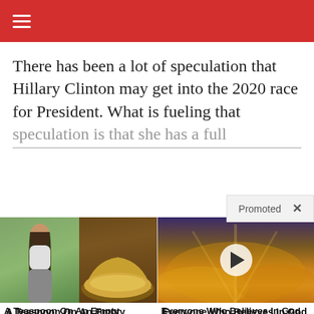Navigation menu bar
There has been a lot of speculation that Hillary Clinton may get into the 2020 race for President. What is fueling that speculation is that she has a full...
Promoted ×
[Figure (photo): Left ad card: collage of woman with toned stomach and yellow spice powder]
A Teaspoon On An Empty Stomach Burns Fat Like Crazy!
🔥 99,980
[Figure (photo): Right ad card: video thumbnail of sunset/sky with play button overlay]
Everyone Who Believes In God Should Watch This. It Will Blow Your Mind
🔥 64,399